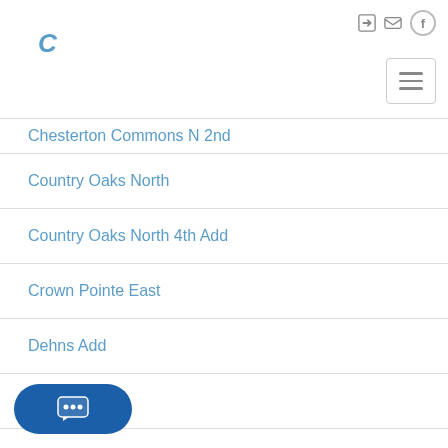C [logo] [icons: login, mail, facebook, hamburger menu]
Chesterton Commons N 2nd
Country Oaks North
Country Oaks North 4th Add
Crown Pointe East
Dehns Add
Emerald Glen
Fox Meadows